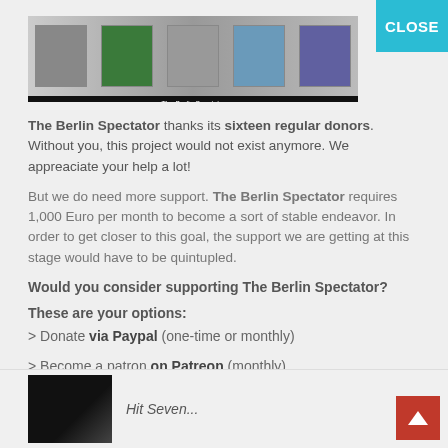[Figure (screenshot): Screenshot of The Berlin Spectator website showing article thumbnails and header]
The Berlin Spectator thanks its sixteen regular donors. Without you, this project would not exist anymore. We appreaciate your help a lot!
But we do need more support. The Berlin Spectator requires 1,000 Euro per month to become a sort of stable endeavor. In order to get closer to this goal, the support we are getting at this stage would have to be quintupled.
Would you consider supporting The Berlin Spectator?
These are your options:
> Donate via Paypal (one-time or monthly)
> Become a patron on Patreon (monthly)
Thank you very much.
[Figure (screenshot): Partial article thumbnail at bottom with text 'Hit Seven...']